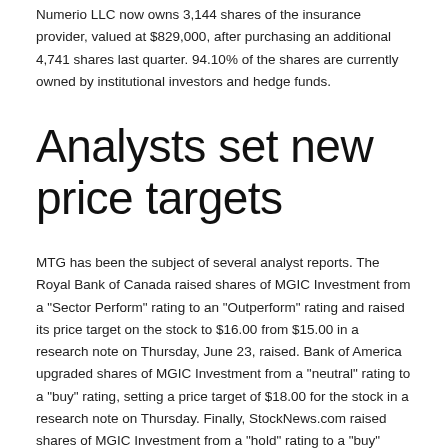Numerio LLC now owns 3,144 shares of the insurance provider, valued at $829,000, after purchasing an additional 4,741 shares last quarter. 94.10% of the shares are currently owned by institutional investors and hedge funds.
Analysts set new price targets
MTG has been the subject of several analyst reports. The Royal Bank of Canada raised shares of MGIC Investment from a "Sector Perform" rating to an "Outperform" rating and raised its price target on the stock to $16.00 from $15.00 in a research note on Thursday, June 23, raised. Bank of America upgraded shares of MGIC Investment from a "neutral" rating to a "buy" rating, setting a price target of $18.00 for the stock in a research note on Thursday. Finally, StockNews.com raised shares of MGIC Investment from a "hold" rating to a "buy" rating in a research report on Friday, August 5th. One research analyst has rated the stock with a hold and five have given a buy rating to the stock. According to MarketBeat.com, MGIC Investment currently has a consensus rating of "Moderate Buy" and an average price target of